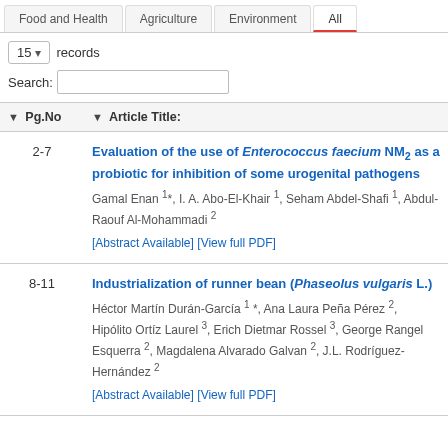Food and Health | Agriculture | Environment | All
15 records
Search:
| Pg.No | Article Title: |
| --- | --- |
| 2-7 | Evaluation of the use of Enterococcus faecium NM2 as a probiotic for inhibition of some urogenital pathogens
Gamal Enan 1*, I. A. Abo-El-Khair 1, Seham Abdel-Shafi 1, Abdul-Raouf Al-Mohammadi 2
[Abstract Available] [View full PDF] |
| 8-11 | Industrialization of runner bean (Phaseolus vulgaris L.)
Héctor Martín Durán-García 1 *, Ana Laura Peña Pérez 2, Hipólito Ortíz Laurel 3, Erich Dietmar Rossel 3, George Rangel Esquerra 2, Magdalena Alvarado Galvan 2, J.L. Rodríguez-Hernández 2
[Abstract Available] [View full PDF] |